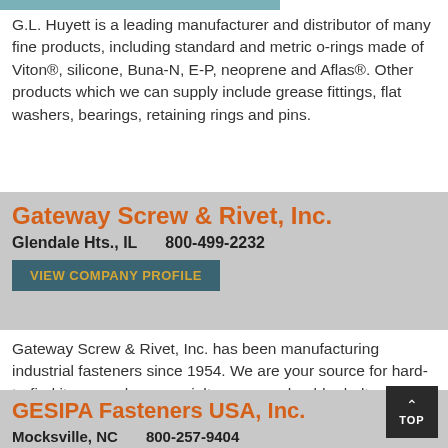G.L. Huyett is a leading manufacturer and distributor of many fine products, including standard and metric o-rings made of Viton®, silicone, Buna-N, E-P, neoprene and Aflas®. Other products which we can supply include grease fittings, flat washers, bearings, retaining rings and pins.
Gateway Screw & Rivet, Inc.
Glendale Hts., IL   800-499-2232
VIEW COMPANY PROFILE
Gateway Screw & Rivet, Inc. has been manufacturing industrial fasteners since 1954. We are your source for hard-to-find items such as specialty screws, shoulder bolts, collar studs and more. We handle high-volume specialty items and on-site engineering services. Our quality control is ISO certified.
GESIPA Fasteners USA, Inc.
Mocksville, NC   800-257-9404